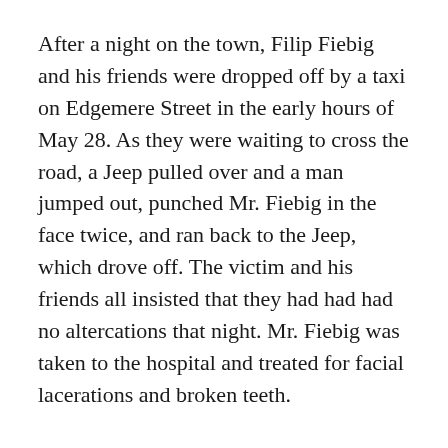After a night on the town, Filip Fiebig and his friends were dropped off by a taxi on Edgemere Street in the early hours of May 28. As they were waiting to cross the road, a Jeep pulled over and a man jumped out, punched Mr. Fiebig in the face twice, and ran back to the Jeep, which drove off. The victim and his friends all insisted that they had had had no altercations that night. Mr. Fiebig was taken to the hospital and treated for facial lacerations and broken teeth.
Joseph Graham called police early on May 29, claiming to have been assaulted by a bouncer at the Memory Motel. Officers spoke with a bouncer there, Kenny, who said Mr. Graham had been bothering the bartender and had tried to enter her